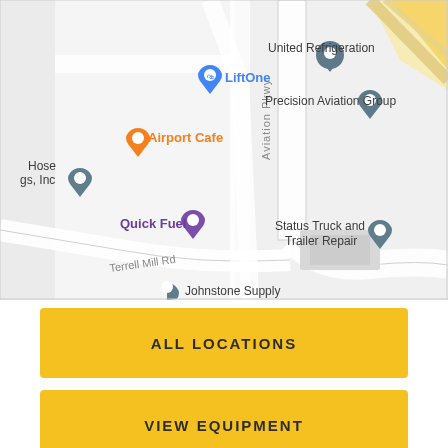[Figure (map): Google Maps screenshot showing area near Aviation Pkwy and Terrell Mill Rd. Visible labels include: United Refrigeration, LiftOne (blue pin), Airport Cafe (orange pin), Precision Aviation Group, Hose gs Inc, Quick Fuel (purple pin), Status Truck and Trailer Repair, Johnstone Supply (partial). Road names: Aviation Pkwy, Terrell Mill Rd.]
ALL LOCATIONS
VIEW EQUIPMENT